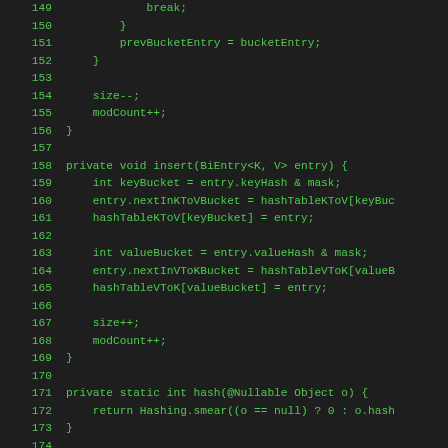Code listing lines 149-178, Java source code showing insert, hash, and seekByKey private methods in a BiMap implementation.